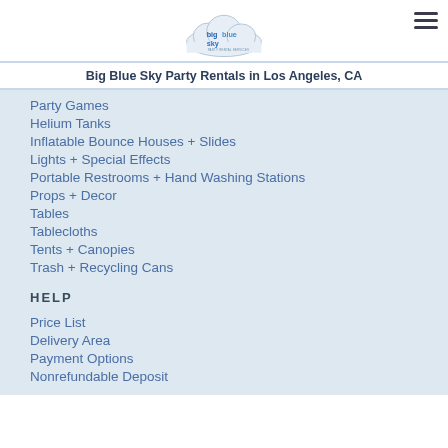[Figure (logo): Big Blue Sky party rentals cloud logo]
Big Blue Sky Party Rentals in Los Angeles, CA
Party Games
Helium Tanks
Inflatable Bounce Houses + Slides
Lights + Special Effects
Portable Restrooms + Hand Washing Stations
Props + Decor
Tables
Tablecloths
Tents + Canopies
Trash + Recycling Cans
HELP
Price List
Delivery Area
Payment Options
Nonrefundable Deposit